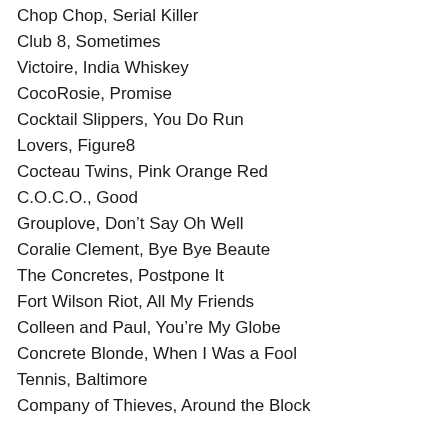Chop Chop, Serial Killer
Club 8, Sometimes
Victoire, India Whiskey
CocoRosie, Promise
Cocktail Slippers, You Do Run
Lovers, Figure8
Cocteau Twins, Pink Orange Red
C.O.C.O., Good
Grouplove, Don't Say Oh Well
Coralie Clement, Bye Bye Beaute
The Concretes, Postpone It
Fort Wilson Riot, All My Friends
Colleen and Paul, You're My Globe
Concrete Blonde, When I Was a Fool
Tennis, Baltimore
Company of Thieves, Around the Block